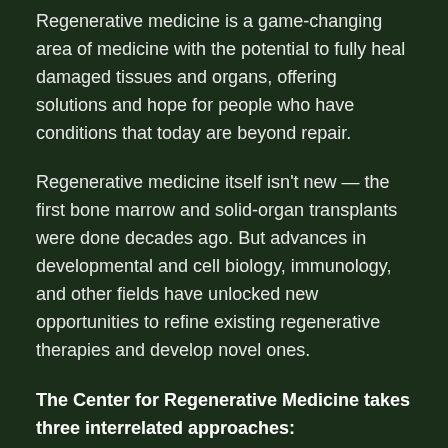Regenerative medicine is a game-changing area of medicine with the potential to fully heal damaged tissues and organs, offering solutions and hope for people who have conditions that today are beyond repair.
Regenerative medicine itself isn't new — the first bone marrow and solid-organ transplants were done decades ago. But advances in developmental and cell biology, immunology, and other fields have unlocked new opportunities to refine existing regenerative therapies and develop novel ones.
The Center for Regenerative Medicine takes three interrelated approaches: